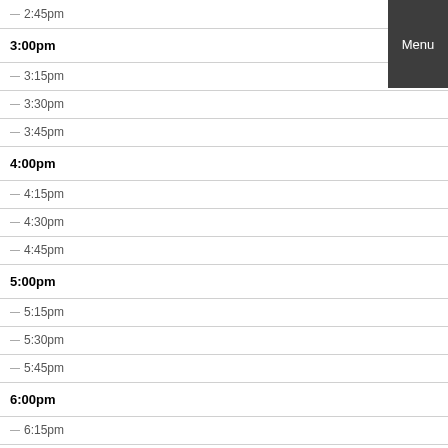2:45pm
3:00pm
3:15pm
3:30pm
3:45pm
4:00pm
4:15pm
4:30pm
4:45pm
5:00pm
5:15pm
5:30pm
5:45pm
6:00pm
6:15pm
6:30pm
Menu